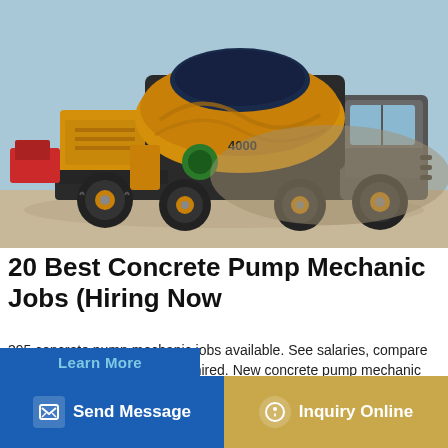[Figure (photo): Yellow concrete mixer truck (self-loading type) parked outdoors in a dusty/arid environment, with a large rotating drum on the back and an operator cab on the right side. Blue sky visible in background.]
20 Best Concrete Pump Mechanic Jobs (Hiring Now
395 concrete pump mechanic jobs available. See salaries, compare reviews, easily apply, and get hired. New concrete pump mechanic careers are added daily on SimplyHired.com. The low-stress way to find your next concrete pump mechanic job opportunity is on SimplyHired. There are over 395 … careers w…
Send Message
Inquiry Online
Learn More